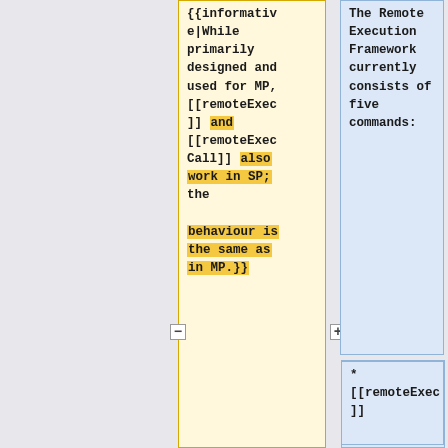{{informativ e|While primarily designed and used for MP, [[remoteExec]] and [[remoteExec Call]] also work in SP; the behaviour is the same as in MP.}}
The Remote Execution Framework currently consists of five commands:
* [[remoteExec]]
* [[remoteExecCall]]